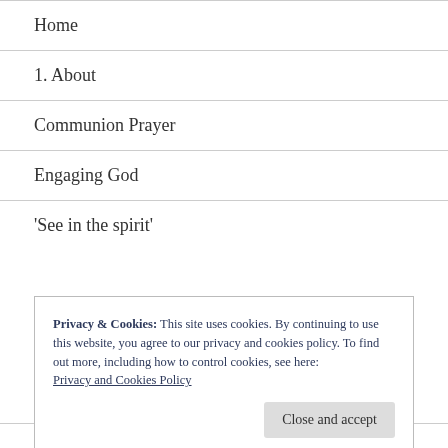Home
1. About
Communion Prayer
Engaging God
‘See in the spirit’
Privacy & Cookies: This site uses cookies. By continuing to use this website, you agree to our privacy and cookies policy. To find out more, including how to control cookies, see here: Privacy and Cookies Policy
Close and accept
Sons of Issachar / ⏱